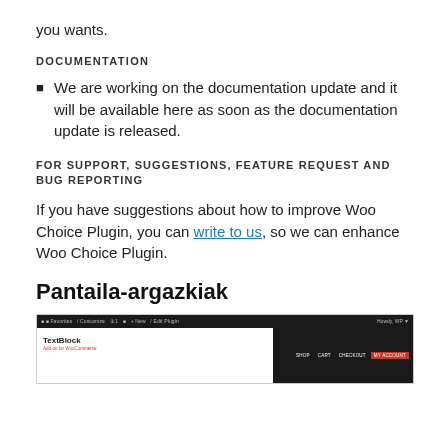you wants.
DOCUMENTATION
We are working on the documentation update and it will be available here as soon as the documentation update is released.
FOR SUPPORT, SUGGESTIONS, FEATURE REQUEST AND BUG REPORTING
If you have suggestions about how to improve Woo Choice Plugin, you can write to us, so we can enhance Woo Choice Plugin.
Pantaila-argazkiak
[Figure (screenshot): Screenshot of a WordPress admin or plugin interface showing a dark top admin bar, white content area with a logo/text block on the left and navigation buttons including a red-highlighted button on the right dark panel.]